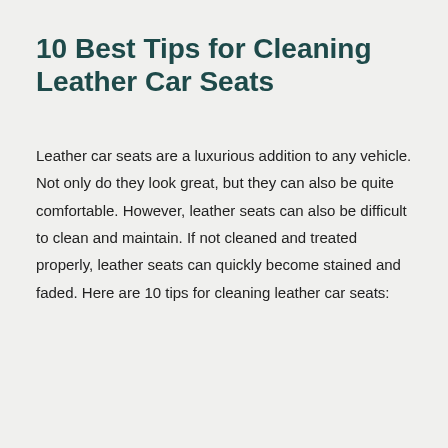10 Best Tips for Cleaning Leather Car Seats
Leather car seats are a luxurious addition to any vehicle. Not only do they look great, but they can also be quite comfortable. However, leather seats can also be difficult to clean and maintain. If not cleaned and treated properly, leather seats can quickly become stained and faded. Here are 10 tips for cleaning leather car seats: